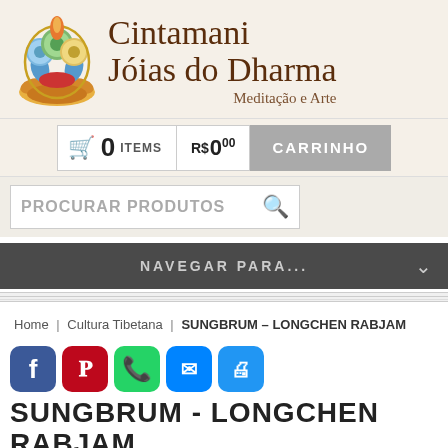[Figure (logo): Cintamani Jóias do Dharma logo with decorative emblem and text: Meditação e Arte]
[Figure (screenshot): Shopping cart bar showing 0 items, R$0.00, and CARRINHO button]
[Figure (screenshot): Search bar with placeholder text PROCURAR PRODUTOS and magnifying glass icon]
[Figure (screenshot): Dark navigation bar with NAVEGAR PARA... and dropdown arrow]
Home | Cultura Tibetana | SUNGBRUM – LONGCHEN RABJAM
[Figure (screenshot): Social media share buttons: Facebook, Pinterest, WhatsApp, Messenger, Print]
SUNGBRUM - LONGCHEN RABJAM